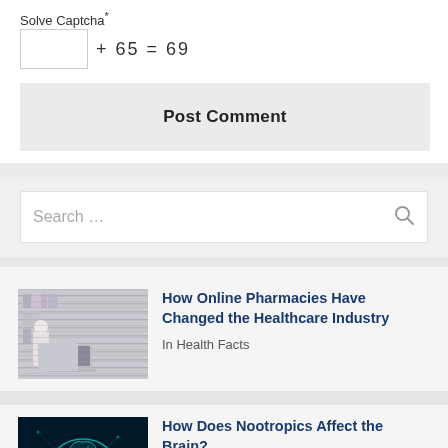Solve Captcha*
Post Comment
Search …
How Online Pharmacies Have Changed the Healthcare Industry
In Health Facts
How Does Nootropics Affect the Brain?
In Health Facts, Product Review